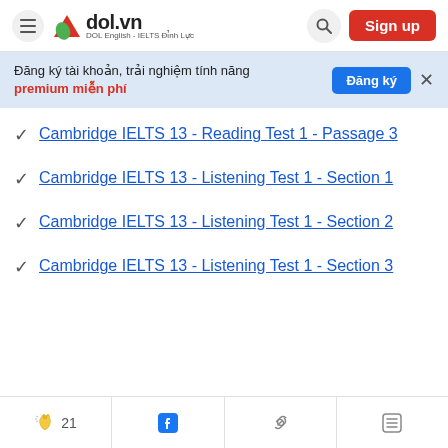[Figure (screenshot): dol.vn website navigation bar with hamburger menu, logo, search icon, and Sign up button]
Đăng ký tài khoản, trải nghiệm tính năng premium miễn phí
Cambridge IELTS 13 - Reading Test 1 - Passage 3
Cambridge IELTS 13 - Listening Test 1 - Section 1
Cambridge IELTS 13 - Listening Test 1 - Section 2
Cambridge IELTS 13 - Listening Test 1 - Section 3
21  [clapping icon]  [facebook icon]  [link icon]  [list icon]